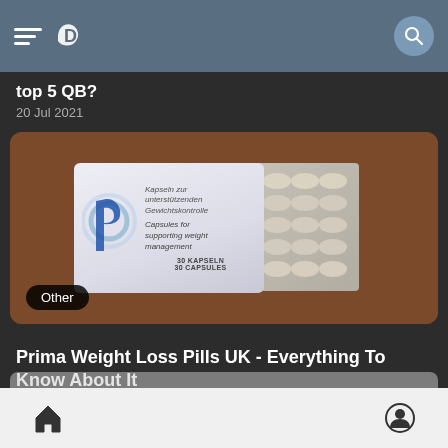Navigation bar with menu and search icons
top 5 QB?
20 Jul 2021
[Figure (photo): Product photo of Prima Weight Loss capsules box with blister pack of white capsules on a brown background. Box shows 'Kapseln zur unterstützenden Gewichtskontrolle / Capsules for supporting weight management / 30 Kapseln 30 Capsules'. Other badge in bottom left corner.]
Prima Weight Loss Pills UK - Everything To Know About It
14 May 2022
Home and profile navigation icons